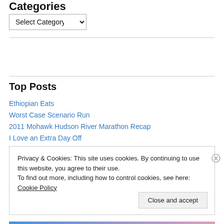Categories
Select Category
Top Posts
Ethiopian Eats
Worst Case Scenario Run
2011 Mohawk Hudson River Marathon Recap
I Love an Extra Day Off
Privacy & Cookies: This site uses cookies. By continuing to use this website, you agree to their use.
To find out more, including how to control cookies, see here: Cookie Policy
Close and accept